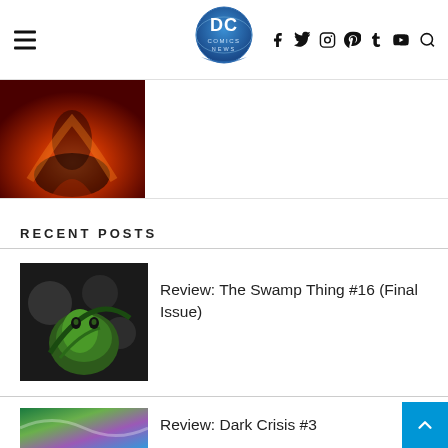DC Comics News — navigation header with logo and social icons
[Figure (photo): Partial comic book cover image with red/orange tones showing a dark figure]
RECENT POSTS
[Figure (photo): Black and white comic book art showing Swamp Thing, a green plant-based creature]
Review: The Swamp Thing #16 (Final Issue)
[Figure (photo): Colorful comic book cover with green, purple, and blue tones for Dark Crisis #3]
Review: Dark Crisis #3